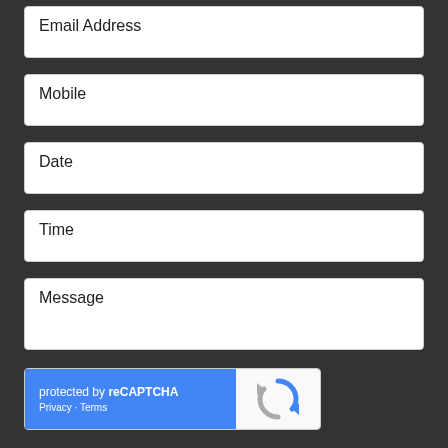Email Address
Mobile
Date
Time
Message
[Figure (other): reCAPTCHA widget with blue left panel showing 'protected by reCAPTCHA' and Privacy - Terms links, and right panel with reCAPTCHA logo]
SUBMIT